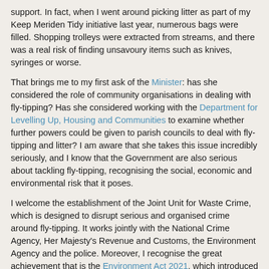support. In fact, when I went around picking litter as part of my Keep Meriden Tidy initiative last year, numerous bags were filled. Shopping trolleys were extracted from streams, and there was a real risk of finding unsavoury items such as knives, syringes or worse.
That brings me to my first ask of the Minister: has she considered the role of community organisations in dealing with fly-tipping? Has she considered working with the Department for Levelling Up, Housing and Communities to examine whether further powers could be given to parish councils to deal with fly-tipping and litter? I am aware that she takes this issue incredibly seriously, and I know that the Government are also serious about tackling fly-tipping, recognising the social, economic and environmental risk that it poses.
I welcome the establishment of the Joint Unit for Waste Crime, which is designed to disrupt serious and organised crime around fly-tipping. It works jointly with the National Crime Agency, Her Majesty's Revenue and Customs, the Environment Agency and the police. Moreover, I recognise the great achievement that is the Environment Act 2021, which introduced new powers to gain evidence and enter sites.
I am also aware of the consultation on fly-tipping, which is ongoing. Can the Minister reassure my constituents and others affected by fly-tipping that the consultation will lead to serious and meaningful change? Of